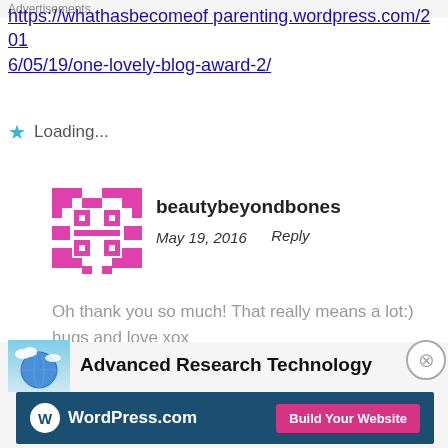https://whathasbecomeof parenting.wordpress.com/2016/05/19/one-lovely-blog-award-2/
Loading...
beautybeyondbones
May 19, 2016   Reply
Oh thank you so much! That really means a lot:) hugs and love xox
Loading...
[Figure (other): Thumbnail image of globe/earth with clouds for Advanced Research Technology ad]
Advanced Research Technology
Advertisements
[Figure (other): WordPress.com advertisement banner with Build Your Website button]